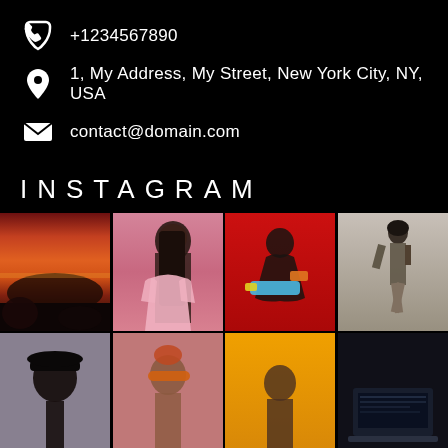+1234567890
1, My Address, My Street, New York City, NY, USA
contact@domain.com
INSTAGRAM
[Figure (photo): Grid of 8 Instagram photos: sunset/ocean rocks, woman in pink dress, man with toy gun on red background, woman in grey outfit, person with black hat, woman with orange sunglasses, yellow background, dark laptop scene]
[Figure (photo): Second row partial: person with black hat, woman with orange sunglasses on dark background, yellow/orange background, dark tech/laptop scene]